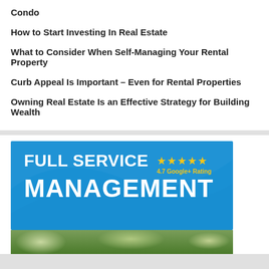Condo
How to Start Investing In Real Estate
What to Consider When Self-Managing Your Rental Property
Curb Appeal Is Important – Even for Rental Properties
Owning Real Estate Is an Effective Strategy for Building Wealth
[Figure (infographic): Full Service Management advertisement banner with blue background, 4.7 Google+ Rating stars, and large white bold text reading FULL SERVICE MANAGEMENT]